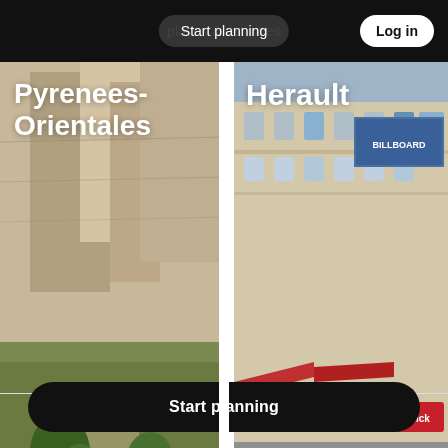Start planning  places & activities  Log in
[Figure (photo): Pyrenees-Orientales region: rocky landscape with green trees and stone formations]
[Figure (photo): Herault region: ornate European city building with street scene, red awnings, and pedestrians]
Start planning